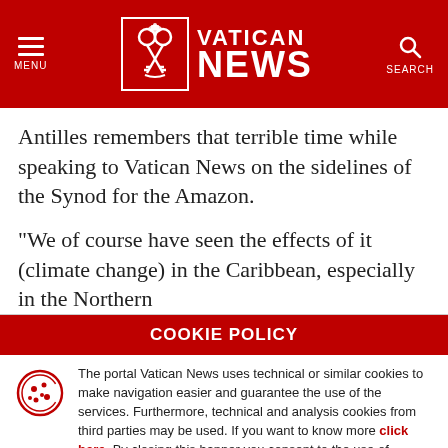[Figure (logo): Vatican News header with hamburger menu icon on left, Vatican News logo in center (white cross keys emblem in bordered box, text VATICAN NEWS), and search icon on right, all on red background]
Antilles remembers that terrible time while speaking to Vatican News on the sidelines of the Synod for the Amazon.
“We of course have seen the effects of it (climate change) in the Caribbean, especially in the Northern
COOKIE POLICY
The portal Vatican News uses technical or similar cookies to make navigation easier and guarantee the use of the services. Furthermore, technical and analysis cookies from third parties may be used. If you want to know more click here. By closing this banner you consent to the use of cookies.
I AGREE